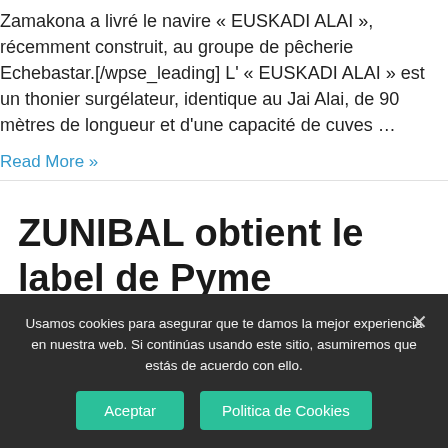Zamakona a livré le navire « EUSKADI ALAI », récemment construit, au groupe de pêcherie Echebastar.[/wpse_leading] L' « EUSKADI ALAI » est un thonier surgélateur, identique au Jai Alai, de 90 mètres de longueur et d'une capacité de cuves …
Read More »
ZUNIBAL obtient le label de Pyme Innovadora (PME Innovante)
Usamos cookies para asegurar que te damos la mejor experiencia en nuestra web. Si continúas usando este sitio, asumiremos que estás de acuerdo con ello.